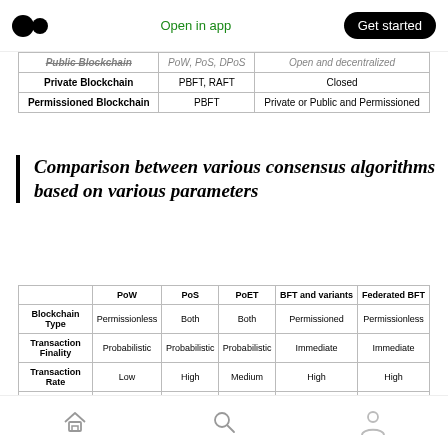Medium logo | Open in app | Get started
|  | Consensus | Access |
| --- | --- | --- |
| Public Blockchain | PoW, PoS, DPoS | Open and decentralized |
| Private Blockchain | PBFT, RAFT | Closed |
| Permissioned Blockchain | PBFT | Private or Public and Permissioned |
Comparison between various consensus algorithms based on various parameters
|  | PoW | PoS | PoET | BFT and variants | Federated BFT |
| --- | --- | --- | --- | --- | --- |
| Blockchain Type | Permissionless | Both | Both | Permissioned | Permissionless |
| Transaction Finality | Probabilistic | Probabilistic | Probabilistic | Immediate | Immediate |
| Transaction Rate | Low | High | Medium | High | High |
| Token Needed? | Yes | Yes | No | No | No |
| Cost of Participation | Yes | Yes | No | No | No |
Home | Search | Profile navigation icons